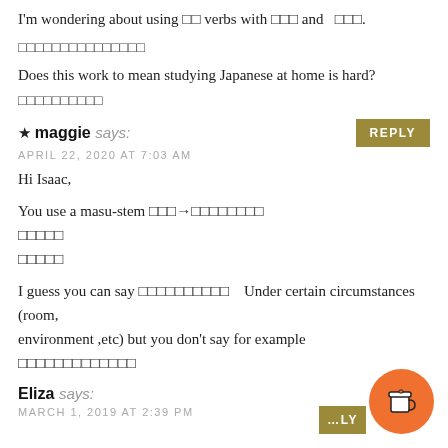I'm wondering about using ?? verbs with ??? and ???.
????????????????
Does this work to mean studying Japanese at home is hard?
??????????
maggie says:
APRIL 22, 2020 AT 7:03 AM
Hi Isaac,
You use a masu-stem ???→??????????
?????
?????
I guess you can say ??????????   Under certain circumstances (room, environment ,etc) but you don't say for example
?????????????
Eliza says:
MARCH 1, 2019 AT 2:39 PM